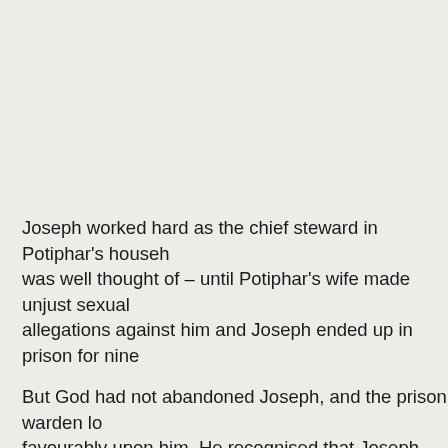Joseph worked hard as the chief steward in Potiphar's household and was well thought of – until Potiphar's wife made unjust sexual allegations against him and Joseph ended up in prison for nine...
But God had not abandoned Joseph, and the prison warden looked favourably upon him. He recognised that Joseph was honest and reliable, and in due course he placed Joseph in charge of all the prisoners.
Joseph (like us) may not have realised it at the time, but God was working things out so that Joseph would be in the right place at the right time for him to come to the attention of the pharaoh h...
The photo shows the entrance to Luxor Temple in Egypt.
You can read more of Joseph's story @